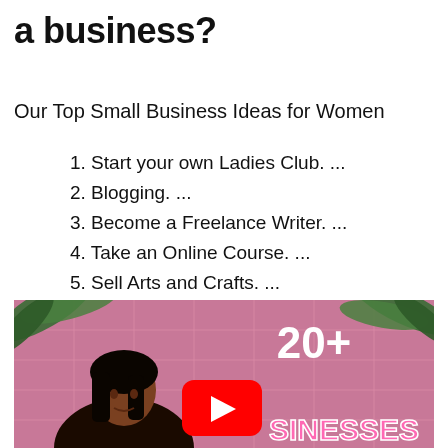a business?
Our Top Small Business Ideas for Women
1. Start your own Ladies Club. ...
2. Blogging. ...
3. Become a Freelance Writer. ...
4. Take an Online Course. ...
5. Sell Arts and Crafts. ...
6. Affiliate Marketing. ...
7. Create eBooks. ...
8. Virtual Assistant.
[Figure (photo): YouTube video thumbnail showing a woman in front of a pink grid background with tropical leaves, a YouTube play button, '20+' text, and 'SINESSES' text visible]